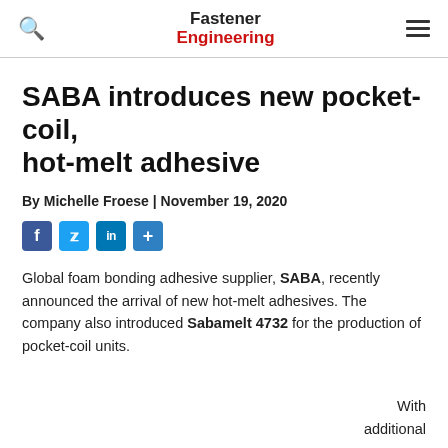Fastener Engineering
SABA introduces new pocket-coil, hot-melt adhesive
By Michelle Froese | November 19, 2020
[Figure (other): Social share buttons: Facebook, Twitter, LinkedIn, Plus]
Global foam bonding adhesive supplier, SABA, recently announced the arrival of new hot-melt adhesives. The company also introduced Sabamelt 4732 for the production of pocket-coil units.
With additional